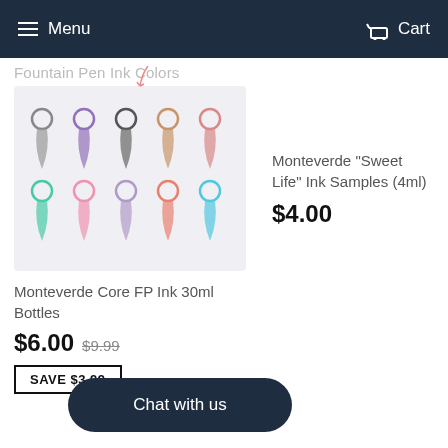Menu  Cart
[Figure (screenshot): Grid of fountain pen ink cartridge illustrations in various colors (grey, purple, dark grey, tan, pink in top row; teal, pink, lavender, coral, cyan in bottom row) with ring caps, on light grey background. Title 'Fountain Pen Ink Colors' shown above with a hand-drawn arrow.]
Monteverde Core FP Ink 30ml Bottles
Monteverde "Sweet Life" Ink Samples (4ml)
$6.00 $9.99
$4.00
SAVE $3.99
Chat with us